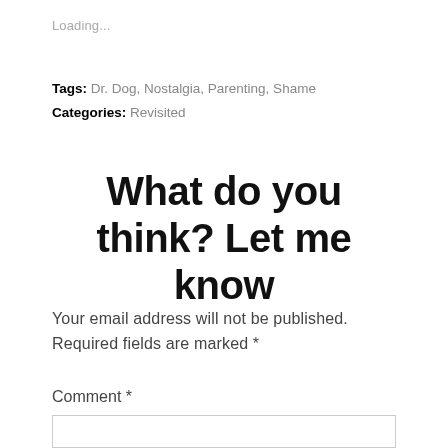Loading...
Tags: Dr. Dog, Nostalgia, Parenting, Shame
Categories: Revisited
What do you think? Let me know
Your email address will not be published. Required fields are marked *
Comment *